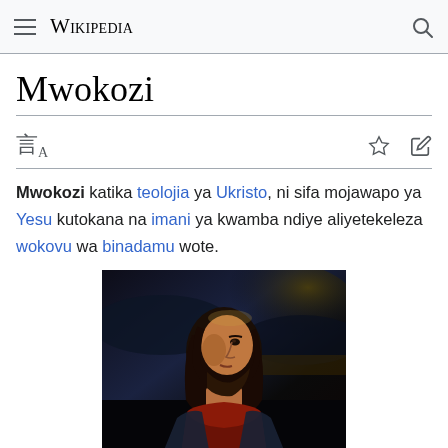Wikipedia
Mwokozi
Mwokozi katika teolojia ya Ukristo, ni sifa mojawapo ya Yesu kutokana na imani ya kwamba ndiye aliyetekeleza wokovu wa binadamu wote.
[Figure (photo): Painting of Jesus Christ in profile view, with long dark hair and beard, wearing a red garment, against a dark dramatic landscape background.]